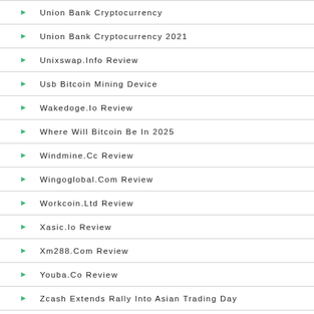Union Bank Cryptocurrency
Union Bank Cryptocurrency 2021
Unixswap.Info Review
Usb Bitcoin Mining Device
Wakedoge.Io Review
Where Will Bitcoin Be In 2025
Windmine.Cc Review
Wingoglobal.Com Review
Workcoin.Ltd Review
Xasic.Io Review
Xm288.Com Review
Youba.Co Review
Zcash Extends Rally Into Asian Trading Day